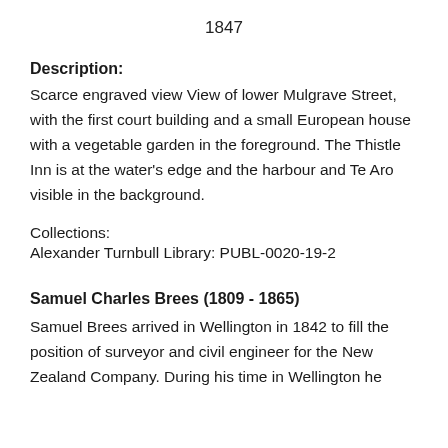1847
Description:
Scarce engraved view View of lower Mulgrave Street, with the first court building and a small European house with a vegetable garden in the foreground. The Thistle Inn is at the water's edge and the harbour and Te Aro visible in the background.
Collections:
Alexander Turnbull Library: PUBL-0020-19-2
Samuel Charles Brees (1809 - 1865)
Samuel Brees arrived in Wellington in 1842 to fill the position of surveyor and civil engineer for the New Zealand Company. During his time in Wellington he